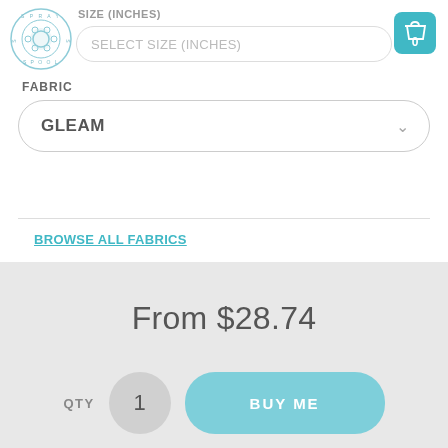[Figure (logo): Spay and Spool circular logo with thread spool icon]
SIZE (INCHES)
SELECT SIZE (INCHES)
FABRIC
GLEAM
BROWSE ALL FABRICS
From $28.74
QTY
1
BUY ME